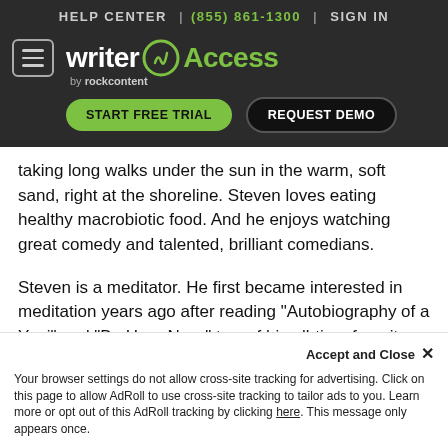HELP CENTER | (855) 861-1300 | SIGN IN
[Figure (logo): WriterAccess by rockcontent logo with hamburger menu, START FREE TRIAL and REQUEST DEMO buttons on dark background]
taking long walks under the sun in the warm, soft sand, right at the shoreline. Steven loves eating healthy macrobiotic food. And he enjoys watching great comedy and talented, brilliant comedians.
Steven is a meditator. He first became interested in meditation years ago after reading "Autobiography of a Yogi" and "Be Here Now," two of his all-time favorite books.
Steven's pursuit of enlightenment is his mo...
Your browser settings do not allow cross-site tracking for advertising. Click on this page to allow AdRoll to use cross-site tracking to tailor ads to you. Learn more or opt out of this AdRoll tracking by clicking here. This message only appears once.